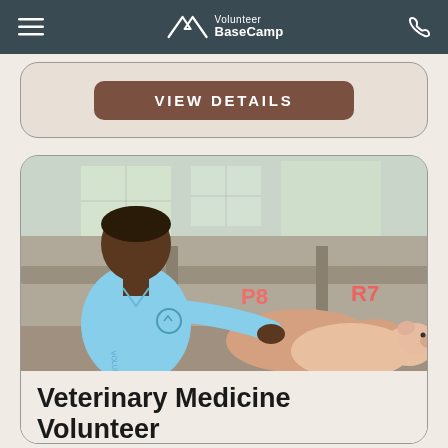Volunteer BaseCamp
VIEW DETAILS
[Figure (photo): A man in a light blue polo shirt examines pigs in a farm pen. The pigs are in concrete stalls with markings. The setting appears to be a livestock barn.]
Veterinary Medicine Volunteer
Kumah Farms Complex
Kumasi, Ghana